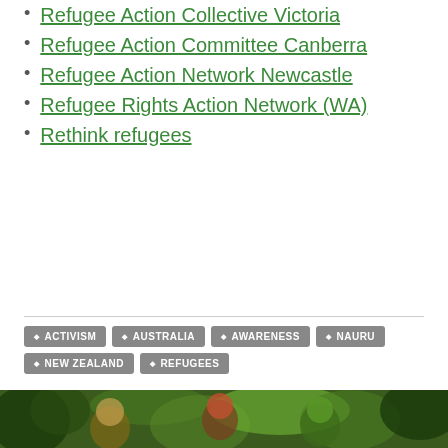Refugee Action Collective Victoria
Refugee Action Committee Canberra
Refugee Action Network Newcastle
Refugee Rights Action Network (WA)
Rethink refugees
ACTIVISM  AUSTRALIA  AWARENESS  NAURU  NEW ZEALAND  REFUGEES
[Figure (photo): People dressed in green and colorful nature-themed costumes in a forest/jungle setting]